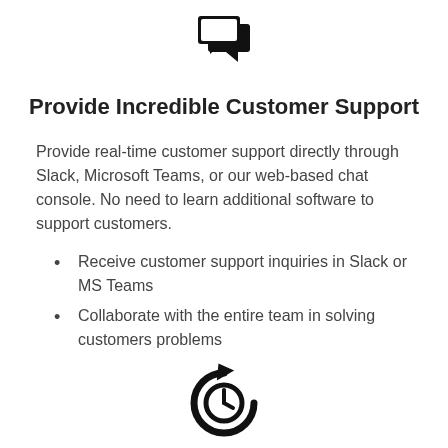[Figure (illustration): Chat/messaging icon — two overlapping speech bubbles with arrows, rendered in black]
Provide Incredible Customer Support
Provide real-time customer support directly through Slack, Microsoft Teams, or our web-based chat console. No need to learn additional software to support customers.
Receive customer support inquiries in Slack or MS Teams
Collaborate with the entire team in solving customers problems
[Figure (illustration): History/restore icon — circular arrow around a clock face, rendered in black]